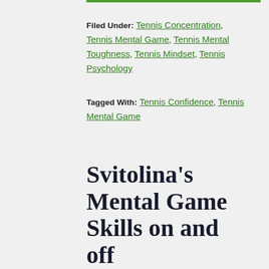Filed Under: Tennis Concentration, Tennis Mental Game, Tennis Mental Toughness, Tennis Mindset, Tennis Psychology
Tagged With: Tennis Confidence, Tennis Mental Game
Svitolina’s Mental Game Skills on and off